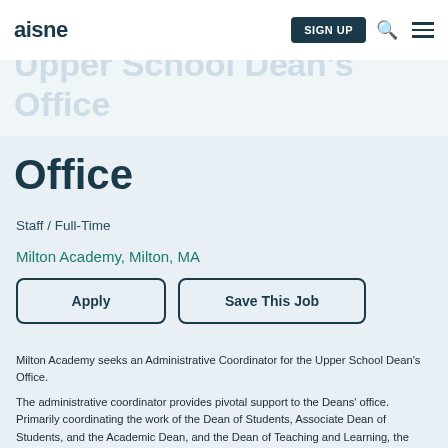aisne | SIGN UP [search] [menu]
Coordinator for the Upper School Dean's Office
Staff / Full-Time
Milton Academy, Milton, MA
Apply | Save This Job
Milton Academy seeks an Administrative Coordinator for the Upper School Dean's Office.
The administrative coordinator provides pivotal support to the Deans' office.  Primarily coordinating the work of the Dean of Students, Associate Dean of Students, and the Academic Dean, and the Dean of Teaching and Learning, the administrative coordinator is a critical link to the rest of the school.  The administrative coordinator is